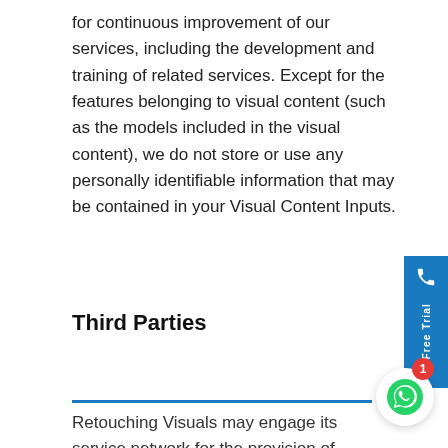for continuous improvement of our services, including the development and training of related services. Except for the features belonging to visual content (such as the models included in the visual content), we do not store or use any personally identifiable information that may be contained in your Visual Content Inputs.
Third Parties
Retouching Visuals may engage its service network for the provision of its services. The service network Retouching Visuals has established consists of a number of carefully